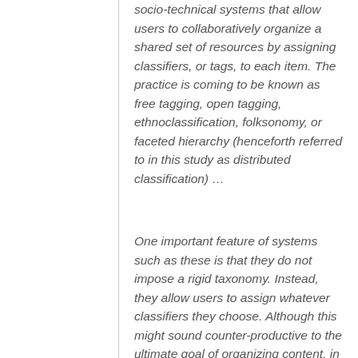socio-technical systems that allow users to collaboratively organize a shared set of resources by assigning classifiers, or tags, to each item. The practice is coming to be known as free tagging, open tagging, ethnoclassification, folksonomy, or faceted hierarchy (henceforth referred to in this study as distributed classification) …
One important feature of systems such as these is that they do not impose a rigid taxonomy. Instead, they allow users to assign whatever classifiers they choose. Although this might sound counter-productive to the ultimate goal of organizing content, in practice it seems to work rather well, although it does present some drawbacks. For example, most